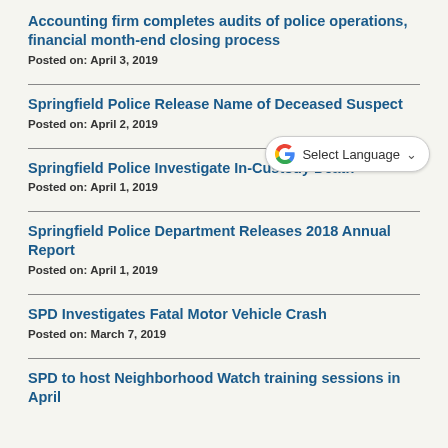Accounting firm completes audits of police operations, financial month-end closing process
Posted on: April 3, 2019
Springfield Police Release Name of Deceased Suspect
Posted on: April 2, 2019
[Figure (other): Google Translate widget with 'Select Language' dropdown]
Springfield Police Investigate In-Custody Death
Posted on: April 1, 2019
Springfield Police Department Releases 2018 Annual Report
Posted on: April 1, 2019
SPD Investigates Fatal Motor Vehicle Crash
Posted on: March 7, 2019
SPD to host Neighborhood Watch training sessions in April